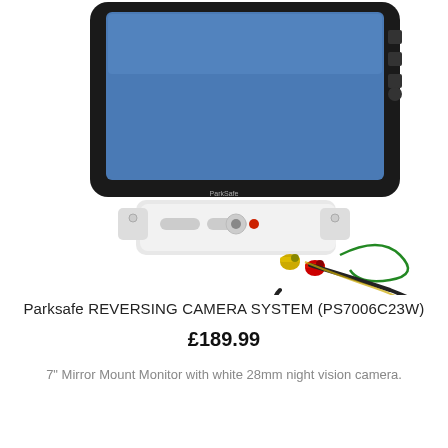[Figure (photo): A Parksafe reversing camera system product photo showing a mirror monitor mounted display with a blue screen, black surround, and a white base unit with buttons and connectors including RCA cables and a wire.]
Parksafe REVERSING CAMERA SYSTEM (PS7006C23W)
£189.99
7" Mirror Mount Monitor with white 28mm night vision camera.